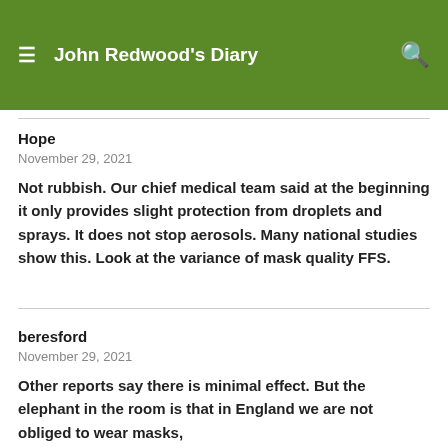John Redwood's Diary
Hope
November 29, 2021
Not rubbish. Our chief medical team said at the beginning it only provides slight protection from droplets and sprays. It does not stop aerosols. Many national studies show this. Look at the variance of mask quality FFS.
beresford
November 29, 2021
Other reports say there is minimal effect. But the elephant in the room is that in England we are not obliged to wear masks,